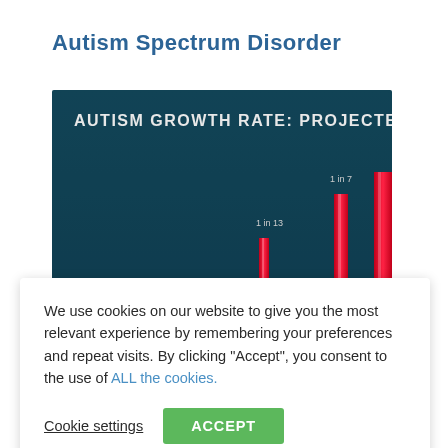Autism Spectrum Disorder
[Figure (screenshot): Screenshot of a bar chart titled 'AUTISM GROWTH RATE: PROJECTED' showing red bars on a dark teal/navy background. Two bars are visible with labels '1 in 13' (year 2028) and '1 in 7' (year 2033), indicating projected autism growth rates.]
We use cookies on our website to give you the most relevant experience by remembering your preferences and repeat visits. By clicking “Accept”, you consent to the use of ALL the cookies.
Cookie settings   ACCEPT